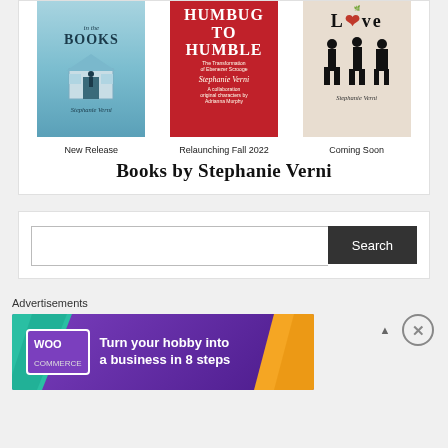[Figure (illustration): Three book covers by Stephanie Verni: 'Buried in the Books' (New Release, blue cover), 'Humbug to Humble' (Relaunching Fall 2022, red cover), and a love/romance title (Coming Soon, beige cover with silhouettes)]
New Release
Relaunching Fall 2022
Coming Soon
Books by Stephanie Verni
[Figure (screenshot): Search bar with text input and dark Search button]
Advertisements
[Figure (illustration): WooCommerce advertisement banner: purple background with teal and orange shapes, WooCommerce logo, text 'Turn your hobby into a business in 8 steps']